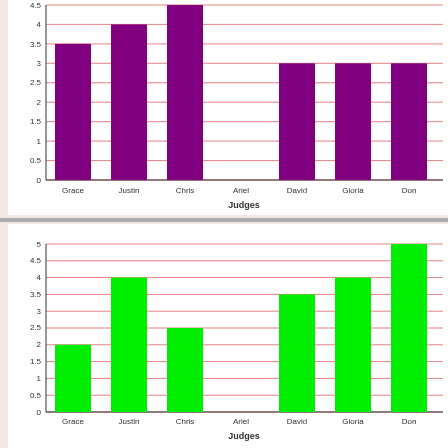[Figure (bar-chart): ]
Berry Wild (Smooth)
[Figure (bar-chart): Berry Wild (Smooth)]